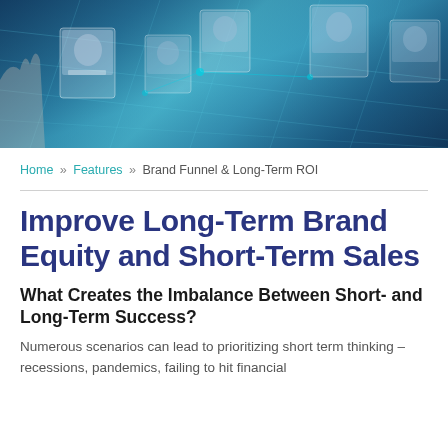[Figure (photo): Hero banner image showing a digital network visualization with profile photos floating on a teal/blue glowing grid background, with a hand partially visible on the left side.]
Home » Features » Brand Funnel & Long-Term ROI
Improve Long-Term Brand Equity and Short-Term Sales
What Creates the Imbalance Between Short- and Long-Term Success?
Numerous scenarios can lead to prioritizing short term thinking – recessions, pandemics, failing to hit financial